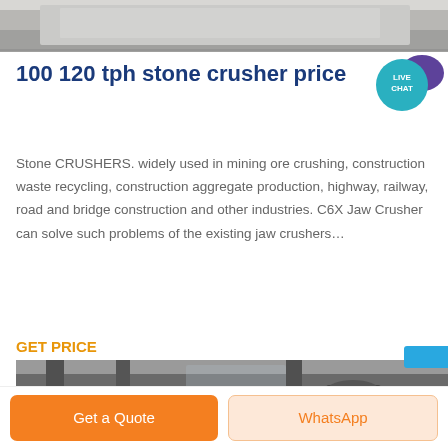[Figure (photo): Partial view of industrial stone crusher machinery or equipment, top portion visible]
100 120 tph stone crusher price
[Figure (other): Live Chat bubble icon in teal/purple color in the top right corner]
Stone CRUSHERS. widely used in mining ore crushing, construction waste recycling, construction aggregate production, highway, railway, road and bridge construction and other industries. C6X Jaw Crusher can solve such problems of the existing jaw crushers…
GET PRICE
[Figure (photo): Industrial stone crusher machines inside a factory/workshop, multiple units visible]
Get a Quote
WhatsApp